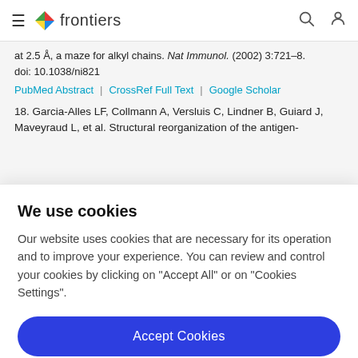frontiers
at 2.5 Å, a maze for alkyl chains. Nat Immunol. (2002) 3:721–8. doi: 10.1038/ni821
PubMed Abstract | CrossRef Full Text | Google Scholar
18. Garcia-Alles LF, Collmann A, Versluis C, Lindner B, Guiard J, Maveyraud L, et al. Structural reorganization of the antigen-
We use cookies
Our website uses cookies that are necessary for its operation and to improve your experience. You can review and control your cookies by clicking on "Accept All" or on "Cookies Settings".
Accept Cookies
Cookies Settings